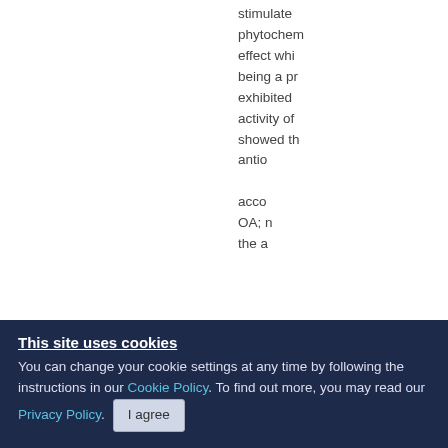stimulate phytochemical effect while being a principle exhibited activity of showed that antioxidantacco OA; n the a Tumor de modificati
This site uses cookies
You can change your cookie settings at any time by following the instructions in our Cookie Policy. To find out more, you may read our Privacy Policy.